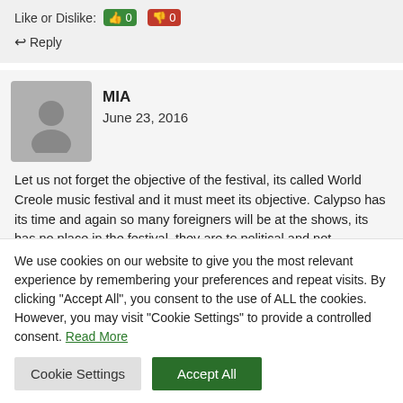Like or Dislike: 👍 0 👎 0
↩ Reply
MIA
June 23, 2016
Let us not forget the objective of the festival, its called World Creole music festival and it must meet its objective. Calypso has its time and again so many foreigners will be at the shows, its has no place in the festival, they are to political and not marketable.
We use cookies on our website to give you the most relevant experience by remembering your preferences and repeat visits. By clicking "Accept All", you consent to the use of ALL the cookies. However, you may visit "Cookie Settings" to provide a controlled consent. Read More